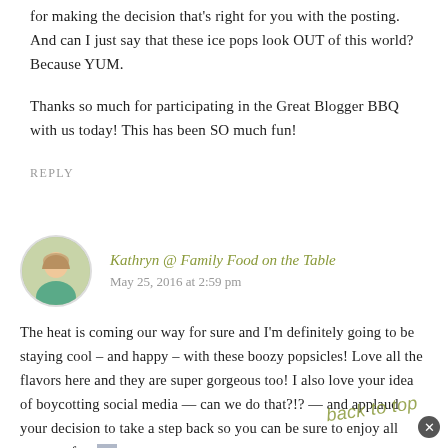for making the decision that's right for you with the posting. And can I just say that these ice pops look OUT of this world? Because YUM.
Thanks so much for participating in the Great Blogger BBQ with us today! This has been SO much fun!
REPLY
Kathryn @ Family Food on the Table
May 25, 2016 at 2:59 pm
The heat is coming our way for sure and I'm definitely going to be staying cool – and happy – with these boozy popsicles! Love all the flavors here and they are super gorgeous too! I also love your idea of boycotting social media — can we do that?!? — and applaud your decision to take a step back so you can be sure to enjoy all summer fun